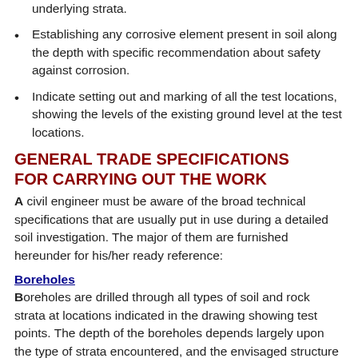underlying strata.
Establishing any corrosive element present in soil along the depth with specific recommendation about safety against corrosion.
Indicate setting out and marking of all the test locations, showing the levels of the existing ground level at the test locations.
GENERAL TRADE SPECIFICATIONS FOR CARRYING OUT THE WORK
A civil engineer must be aware of the broad technical specifications that are usually put in use during a detailed soil investigation. The major of them are furnished hereunder for his/her ready reference:
Boreholes
Boreholes are drilled through all types of soil and rock strata at locations indicated in the drawing showing test points. The depth of the boreholes depends largely upon the type of strata encountered, and the envisaged structure loading at